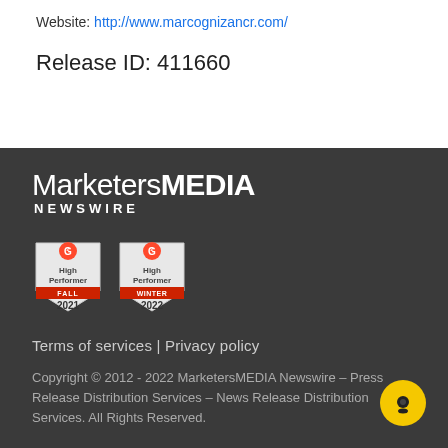Website: http://www.marcognizancr.com/
Release ID: 411660
[Figure (logo): MarketersMEDIA Newswire logo in white text on dark background]
[Figure (infographic): Two G2 High Performer badges: Fall 2021 and Winter 2022]
Terms of services | Privacy policy
Copyright © 2012 - 2022 MarketersMEDIA Newswire – Press Release Distribution Services – News Release Distribution Services. All Rights Reserved.